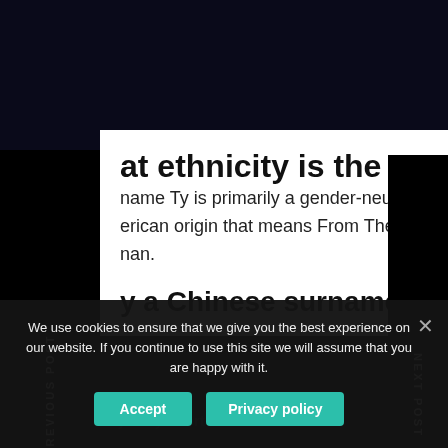What ethnicity is the name Ty?
The name Ty is primarily a gender-neutral name of American origin that means From The Land Of Eoghan.
Is Ty a Chinese surname?
What country is Ty short for
We use cookies to ensure that we give you the best experience on our website. If you continue to use this site we will assume that you are happy with it.